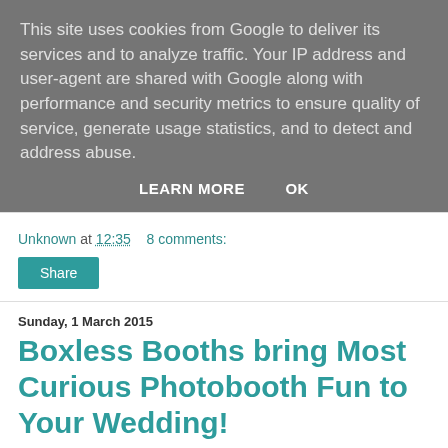This site uses cookies from Google to deliver its services and to analyze traffic. Your IP address and user-agent are shared with Google along with performance and security metrics to ensure quality of service, generate usage statistics, and to detect and address abuse.
LEARN MORE    OK
Unknown at 12:35    8 comments:
Share
Sunday, 1 March 2015
Boxless Booths bring Most Curious Photobooth Fun to Your Wedding!
Boxless Booths was set up in 2014 by creative husband and wife team Paul and Oriana who share a love for photography, design, and of course a great wedding!